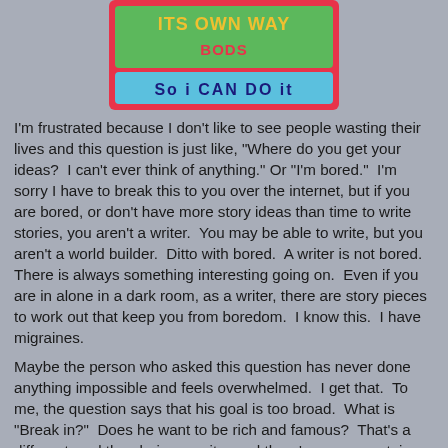[Figure (illustration): Colorful illustrated sign with text 'its own way so i CAN DO it' on a pink/red background with green and blue lettering]
I'm frustrated because I don't like to see people wasting their lives and this question is just like, "Where do you get your ideas?  I can't ever think of anything." Or "I'm bored."  I'm sorry I have to break this to you over the internet, but if you are bored, or don't have more story ideas than time to write stories, you aren't a writer.  You may be able to write, but you aren't a world builder.  Ditto with bored.  A writer is not bored.  There is always something interesting going on.  Even if you are in alone in a dark room, as a writer, there are story pieces to work out that keep you from boredom.  I know this.  I have migraines.
Maybe the person who asked this question has never done anything impossible and feels overwhelmed.  I get that.  To me, the question says that his goal is too broad.  What is "Break in?"  Does he want to be rich and famous?  That's a different goal than being a writer and there's a more certain path to achieve that.  Does he just want to sell a script?